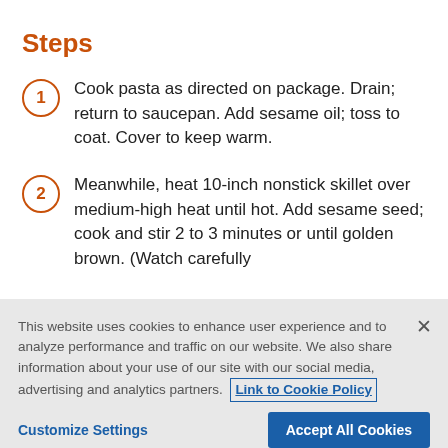Steps
Cook pasta as directed on package. Drain; return to saucepan. Add sesame oil; toss to coat. Cover to keep warm.
Meanwhile, heat 10-inch nonstick skillet over medium-high heat until hot. Add sesame seed; cook and stir 2 to 3 minutes or until golden brown. (Watch carefully
This website uses cookies to enhance user experience and to analyze performance and traffic on our website. We also share information about your use of our site with our social media, advertising and analytics partners. Link to Cookie Policy
Customize Settings   Accept All Cookies